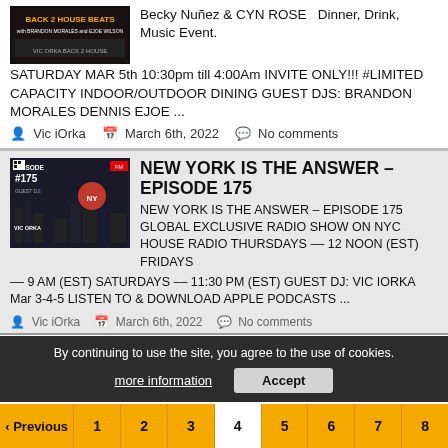[Figure (photo): Back 2 House Beats event flyer with Brandon Morales and Ejoe Wilson text on dark background]
Becky Nuñez & CYN ROSE  Dinner, Drink, Music Event. SATURDAY MAR 5th 10:30pm till 4:00Am INVITE ONLY!!! #LIMITED CAPACITY INDOOR/OUTDOOR DINING GUEST DJS: BRANDON MORALES DENNIS EJOE ...
Vic iOrka   March 6th, 2022   No comments
[Figure (photo): New York Is The Answer Episode 175 show graphic with Vic iOrka DJ in red cap against NYC skyline]
NEW YORK IS THE ANSWER – EPISODE 175
NEW YORK IS THE ANSWER – EPISODE 175 GLOBAL EXCLUSIVE RADIO SHOW ON NYC HOUSE RADIO THURSDAYS –– 12 NOON (EST) FRIDAYS –– 9 AM (EST) SATURDAYS –– 11:30 PM (EST) GUEST DJ: VIC IORKA Mar 3-4-5 LISTEN TO & DOWNLOAD APPLE PODCASTS ...
Vic iOrka   March 6th, 2022   No comments
By continuing to use the site, you agree to the use of cookies.
more information   Accept
‹ Previous   1   2   3   4   5   6   7   8